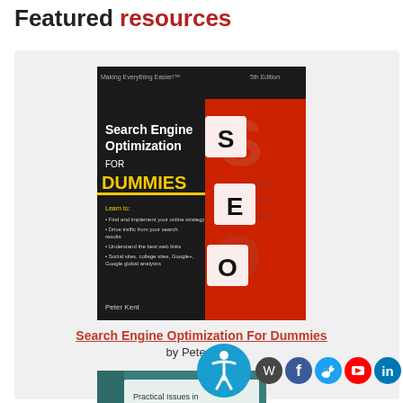Featured resources
[Figure (photo): Book cover: Search Engine Optimization For Dummies, with yellow and black cover and red letter tiles]
Search Engine Optimization For Dummies
by Peter Kent
[Figure (photo): Book cover: Practical Issues in Employment Testing by Robert G. Rose, Ph.D., teal/white cover]
[Figure (infographic): Social media icons: WordPress, Facebook, Twitter, YouTube, LinkedIn and accessibility button]